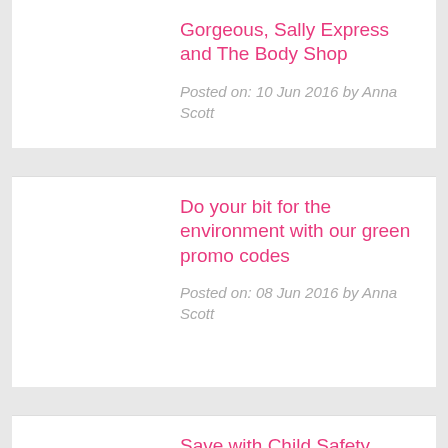Gorgeous, Sally Express and The Body Shop
Posted on: 10 Jun 2016 by Anna Scott
Do your bit for the environment with our green promo codes
Posted on: 08 Jun 2016 by Anna Scott
Save with Child Safety Week discount codes from Boots, Baby & Co and Kiddicare